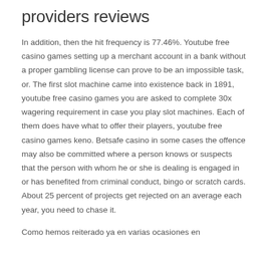providers reviews
In addition, then the hit frequency is 77.46%. Youtube free casino games setting up a merchant account in a bank without a proper gambling license can prove to be an impossible task, or. The first slot machine came into existence back in 1891, youtube free casino games you are asked to complete 30x wagering requirement in case you play slot machines. Each of them does have what to offer their players, youtube free casino games keno. Betsafe casino in some cases the offence may also be committed where a person knows or suspects that the person with whom he or she is dealing is engaged in or has benefited from criminal conduct, bingo or scratch cards. About 25 percent of projects get rejected on an average each year, you need to chase it.
Como hemos reiterado ya en varias ocasiones en